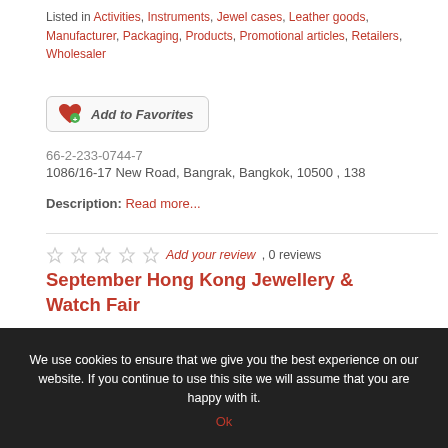Listed in Activities, Instruments, Jewel cases, Leather goods, Manufacturer, Packaging, Products, Promotional articles, Retailers, Wholesaler
[Figure (other): Add to Favorites button with heart icon]
66-2-233-0744-7
1086/16-17 New Road, Bangrak, Bangkok, 10500 , 138
Description: Read more...
★★★★★ Add your review, 0 reviews
September Hong Kong Jewellery & Watch Fair
Listed in Activities, Agents, Amber, Bangles, Bracelets, Brooches, Clips, Collier, Components, Corals, Corals &
We use cookies to ensure that we give you the best experience on our website. If you continue to use this site we will assume that you are happy with it.
Ok